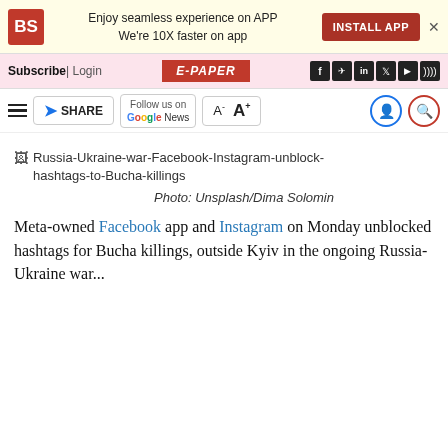Enjoy seamless experience on APP We're 10X faster on app | INSTALL APP
Subscribe | Login  E-PAPER
SHARE  Follow us on Google News  A- A+
[Figure (photo): Russia-Ukraine-war-Facebook-Instagram-unblock-hashtags-to-Bucha-killings (image not loaded)]
Photo: Unsplash/Dima Solomin
Meta-owned Facebook app and Instagram on Monday unblocked hashtags for Bucha killings, outside Kyiv in the ongoing Russia-Ukraine war...